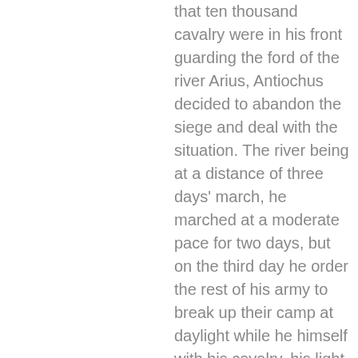that ten thousand cavalry were in his front guarding the ford of the river Arius, Antiochus decided to abandon the siege and deal with the situation. The river being at a distance of three days' march, he marched at a moderate pace for two days, but on the third day he order the rest of his army to break up their camp at daylight while he himself with his cavalry, his light-armed infantry, and ten thousand peltasts advanced during the night marching quickly. For he had heard that the enemy's horse kept guard during the day on the river bank, but retired at night to a town as much as twenty stades away. Having completed the remainder of the distance during the night, as the plain is easy to ride over, he succeeded in getting the greater part of his forces across the river by